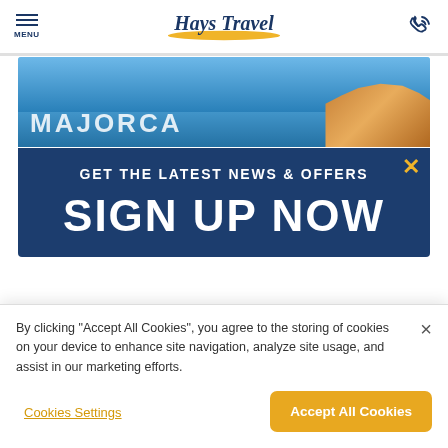MENU | Hays Travel | Phone
[Figure (photo): Hero banner photo of a resort/coastal scene with blue sky, partially visible large white text overlay reading 'MAJORCA' or similar destination name]
GET THE LATEST NEWS & OFFERS
SIGN UP NOW
By clicking “Accept All Cookies”, you agree to the storing of cookies on your device to enhance site navigation, analyze site usage, and assist in our marketing efforts.
Cookies Settings
Accept All Cookies